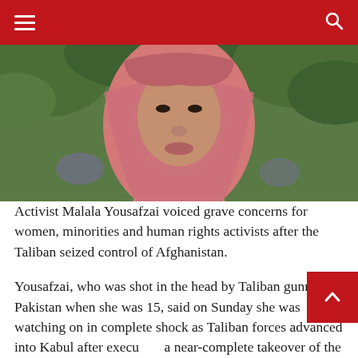Navigation bar with hamburger menu and search icon
[Figure (photo): Close-up photo of a woman wearing a pink hijab, with green foliage in the background]
Activist Malala Yousafzai voiced grave concerns for women, minorities and human rights activists after the Taliban seized control of Afghanistan.
Yousafzai, who was shot in the head by Taliban gunmen in Pakistan when she was 15, said on Sunday she was watching on in complete shock as Taliban forces advanced into Kabul after executing a near-complete takeover of the country in a little over a week.